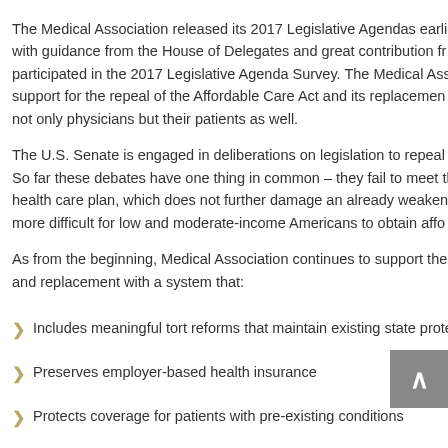The Medical Association released its 2017 Legislative Agendas earlier with guidance from the House of Delegates and great contribution from participated in the 2017 Legislative Agenda Survey. The Medical Asso support for the repeal of the Affordable Care Act and its replacement not only physicians but their patients as well.
The U.S. Senate is engaged in deliberations on legislation to repeal a So far these debates have one thing in common – they fail to meet th health care plan, which does not further damage an already weaken more difficult for low and moderate-income Americans to obtain affo
As from the beginning, Medical Association continues to support the and replacement with a system that:
Includes meaningful tort reforms that maintain existing state prote
Preserves employer-based health insurance
Protects coverage for patients with pre-existing conditions
Protects coverage for dependents under age 26